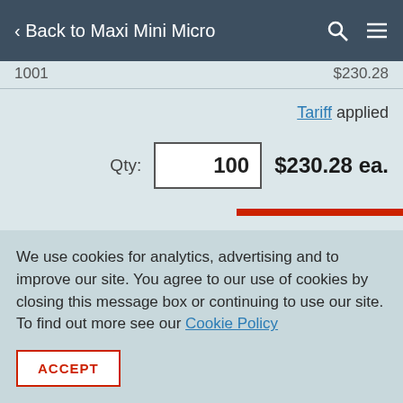< Back to Maxi Mini Micro
1001   $230.28
Tariff applied
Qty:  100   $230.28 ea.
We use cookies for analytics, advertising and to improve our site. You agree to our use of cookies by closing this message box or continuing to use our site. To find out more see our Cookie Policy
ACCEPT